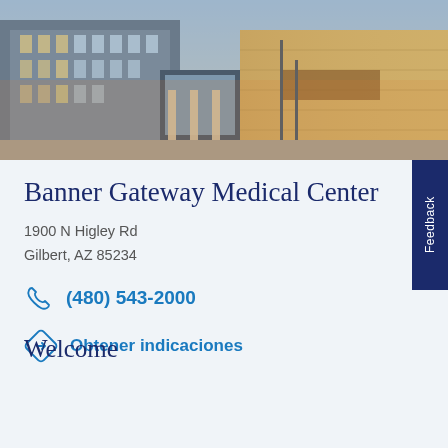[Figure (photo): Exterior photo of Banner Gateway Medical Center building with warm lighting at dusk/evening]
Banner Gateway Medical Center
1900 N Higley Rd
Gilbert, AZ 85234
(480) 543-2000
Obtener indicaciones
Welcome